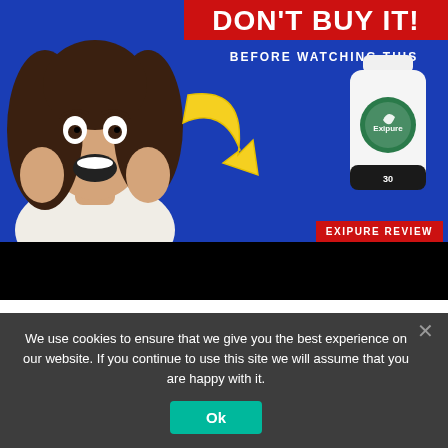[Figure (screenshot): YouTube thumbnail for Exipure supplement review video. Blue background with a shocked woman on the left, bold red 'DON'T BUY IT!' banner top right, yellow arrow pointing to an Exipure supplement bottle, 'BEFORE WATCHING THIS' text, and 'EXIPURE REVIEW' red banner at bottom right. Black bar at bottom of thumbnail.]
EXIPURE – Exipure Review – BUYER BEWARE! – Exipure Review 2022 – Exipure Weight Loss Supplement
We use cookies to ensure that we give you the best experience on our website. If you continue to use this site we will assume that you are happy with it.